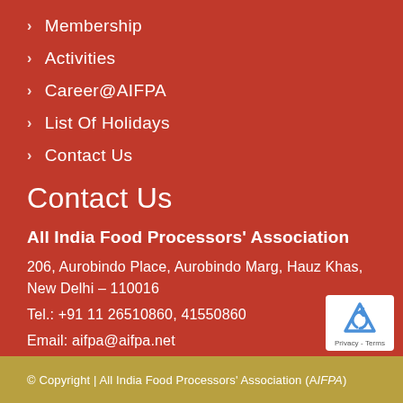Membership
Activities
Career@AIFPA
List Of Holidays
Contact Us
Contact Us
All India Food Processors' Association
206, Aurobindo Place, Aurobindo Marg, Hauz Khas, New Delhi – 110016
Tel.: +91 11 26510860, 41550860
Email: aifpa@aifpa.net
© Copyright | All India Food Processors' Association (AIFPA)